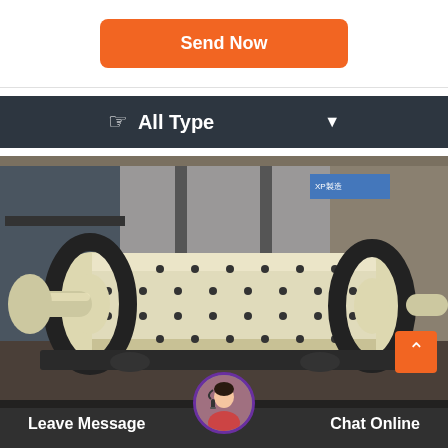Send Now
All Type
[Figure (photo): Industrial ball mill machine photographed in a factory setting. The machine has a large cream/beige cylindrical drum with bolts, flanked by geared wheels on both sides, sitting on a heavy-duty frame. Industrial building structure visible in background.]
Leave Message
Chat Online